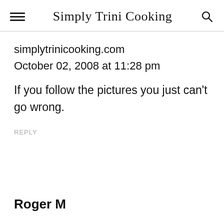Simply Trini Cooking
simplytrinicooking.com
October 02, 2008 at 11:28 pm
If you follow the pictures you just can't go wrong.
REPLY
Roger M